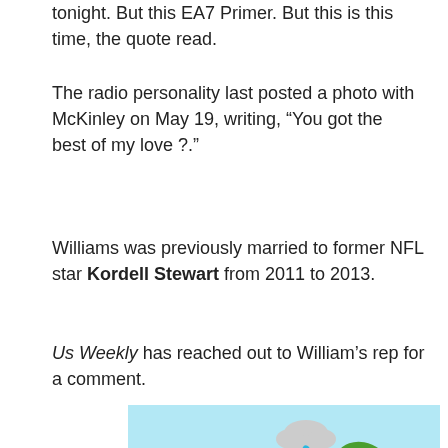tonight. But this EA7 Primer. But this is this time, the quote read.
The radio personality last posted a photo with McKinley on May 19, writing, “You got the best of my love ?.”
Williams was previously married to former NFL star Kordell Stewart from 2011 to 2013.
Us Weekly has reached out to William’s rep for a comment.
[Figure (illustration): Draw the line illustrated advertisement with green text, leaves, a cloud, and a blue wavy line on a light blue background.]